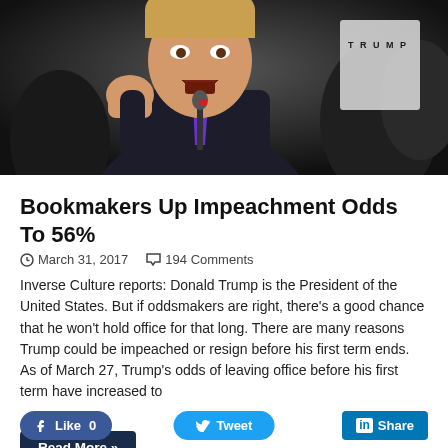[Figure (photo): Photo of Donald Trump with fist raised, speaking at a rally, wearing a dark suit and purple tie, with a crowd behind him including someone in a white TRUMP shirt]
Bookmakers Up Impeachment Odds To 56%
March 31, 2017   194 Comments
Inverse Culture reports: Donald Trump is the President of the United States. But if oddsmakers are right, there's a good chance that he won't hold office for that long. There are many reasons Trump could be impeached or resign before his first term ends. As of March 27, Trump's odds of leaving office before his first term have increased to
…
Read More »
Like 0   Tweet   Share